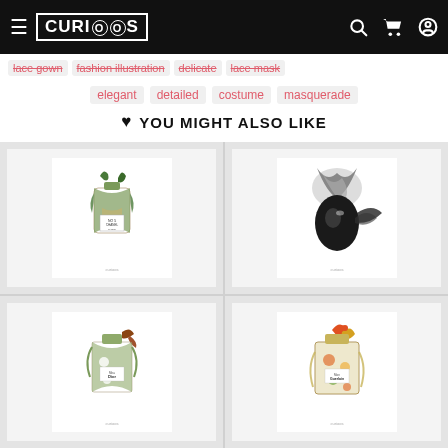CURIOOS — navigation header with hamburger menu, logo, search, cart, and account icons
lace gown
fashion illustration
delicate
lace mask
elegant
detailed
costume
masquerade
♥  YOU MIGHT ALSO LIKE
[Figure (photo): Art print featuring a symmetrical Chanel No.5 perfume bottle illustration with botanical/nature motifs and birds]
[Figure (photo): Art print featuring a black and white portrait with an abstract smoky/splashing effect around the face]
[Figure (photo): Art print featuring a Dior perfume bottle with botanical floral motifs and a hummingbird]
[Figure (photo): Art print featuring a perfume bottle with vivid botanical and colorful bird motifs]